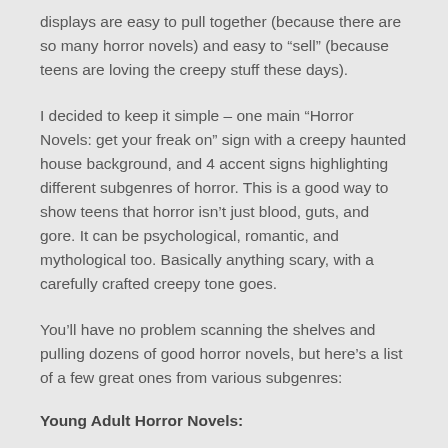displays are easy to pull together (because there are so many horror novels) and easy to “sell” (because teens are loving the creepy stuff these days).
I decided to keep it simple – one main “Horror Novels: get your freak on” sign with a creepy haunted house background, and 4 accent signs highlighting different subgenres of horror. This is a good way to show teens that horror isn’t just blood, guts, and gore. It can be psychological, romantic, and mythological too. Basically anything scary, with a carefully crafted creepy tone goes.
You’ll have no problem scanning the shelves and pulling dozens of good horror novels, but here’s a list of a few great ones from various subgenres:
Young Adult Horror Novels: